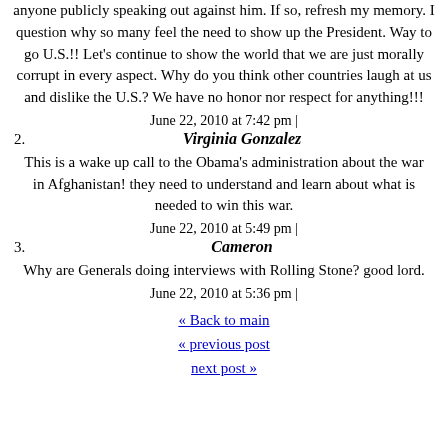anyone publicly speaking out against him. If so, refresh my memory. I question why so many feel the need to show up the President. Way to go U.S.!! Let's continue to show the world that we are just morally corrupt in every aspect. Why do you think other countries laugh at us and dislike the U.S.? We have no honor nor respect for anything!!!
June 22, 2010 at 7:42 pm | Virginia Gonzalez — This is a wake up call to the Obama's administration about the war in Afghanistan! they need to understand and learn about what is needed to win this war.
June 22, 2010 at 5:49 pm | Cameron — Why are Generals doing interviews with Rolling Stone? good lord.
June 22, 2010 at 5:36 pm |
« Back to main
« previous post
next post »